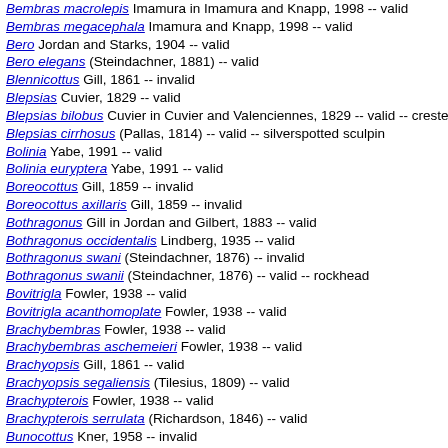Bembras macrolepis Imamura in Imamura and Knapp, 1998 -- valid
Bembras megacephala Imamura and Knapp, 1998 -- valid
Bero Jordan and Starks, 1904 -- valid
Bero elegans (Steindachner, 1881) -- valid
Blennicottus Gill, 1861 -- invalid
Blepsias Cuvier, 1829 -- valid
Blepsias bilobus Cuvier in Cuvier and Valenciennes, 1829 -- valid -- crested s...
Blepsias cirrhosus (Pallas, 1814) -- valid -- silverspotted sculpin
Bolinia Yabe, 1991 -- valid
Bolinia euryptera Yabe, 1991 -- valid
Boreocottus Gill, 1859 -- invalid
Boreocottus axillaris Gill, 1859 -- invalid
Bothragonus Gill in Jordan and Gilbert, 1883 -- valid
Bothragonus occidentalis Lindberg, 1935 -- valid
Bothragonus swani (Steindachner, 1876) -- invalid
Bothragonus swanii (Steindachner, 1876) -- valid -- rockhead
Bovitrigla Fowler, 1938 -- valid
Bovitrigla acanthomoplate Fowler, 1938 -- valid
Brachybembras Fowler, 1938 -- valid
Brachybembras aschemeieri Fowler, 1938 -- valid
Brachyopsis Gill, 1861 -- valid
Brachyopsis segaliensis (Tilesius, 1809) -- valid
Brachypterois Fowler, 1938 -- valid
Brachypterois serrulata (Richardson, 1846) -- valid
Bunocottus Kner, 1958 -- invalid
Calycilepidotus Ayres, 1855 -- invalid
Caracanthus Krøyer, 1845 -- valid
Caracanthus maculatus (Gray, 1831) -- valid -- spotted croucher
Caracanthus madagascariensis (Guichenot, 1869) -- valid
Caracanthus typicus Krøyer, 1845 -- valid
Caracanthus unipinna (Gray, 1831) -- valid
Caracanthus zeylonicus (Day, 1870) -- valid -- Ceylonese velvetfish
Caronroctus Krøyer, 1862 -- valid